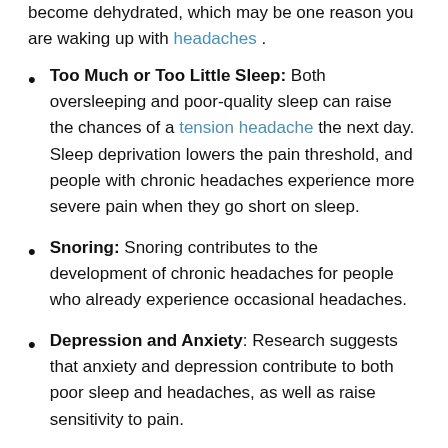become dehydrated, which may be one reason you are waking up with headaches .
Too Much or Too Little Sleep: Both oversleeping and poor-quality sleep can raise the chances of a tension headache the next day. Sleep deprivation lowers the pain threshold, and people with chronic headaches experience more severe pain when they go short on sleep.
Snoring: Snoring contributes to the development of chronic headaches for people who already experience occasional headaches.
Depression and Anxiety: Research suggests that anxiety and depression contribute to both poor sleep and headaches, as well as raise sensitivity to pain.
Using the Wrong Pillow: Pillows are designed to reduce tension by keeping the spine in a neutral position. A